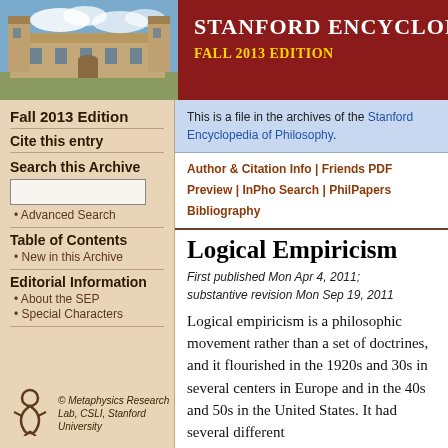[Figure (photo): Photo of a university building (stone architecture) with blue sky and clouds]
Stanford Encyclopedia of Philosophy — Fall 2013 Edition
Fall 2013 Edition
Cite this entry
Search this Archive
Advanced Search
Table of Contents
New in this Archive
Editorial Information
About the SEP
Special Characters
© Metaphysics Research Lab, CSLI, Stanford University
This is a file in the archives of the Stanford Encyclopedia of Philosophy.
Author & Citation Info | Friends PDF Preview | InPho Search | PhilPapers Bibliography
Logical Empiricism
First published Mon Apr 4, 2011; substantive revision Mon Sep 19, 2011
Logical empiricism is a philosophic movement rather than a set of doctrines, and it flourished in the 1920s and 30s in several centers in Europe and in the 40s and 50s in the United States. It had several different